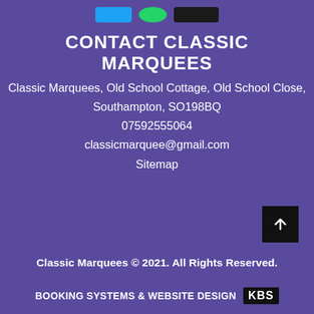[Figure (other): Top social media icon bar with blue, green and dark brand icons]
CONTACT CLASSIC MARQUEES
Classic Marquees, Old School Cottage, Old School Close, Southampton, SO198BQ
07592555064
classicmarquee@gmail.com
Sitemap
[Figure (other): Scroll to top button - black square with upward arrow]
Classic Marquees © 2021. All Rights Reserved.
BOOKING SYSTEMS & WEBSITE DESIGN KBS